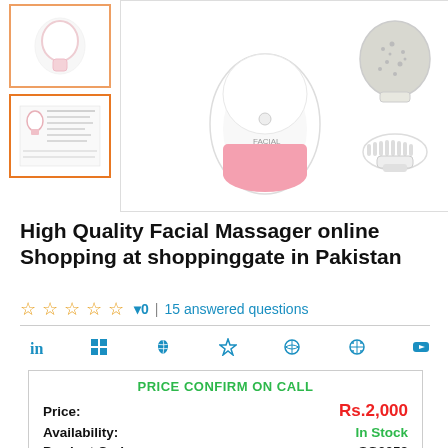[Figure (photo): Product images: thumbnail of facial massager device with spec sheet, main image showing white/pink facial massager device with attachments including pumice stone and brush head]
High Quality Facial Massager online Shopping at shoppinggate in Pakistan
☆ ☆ ☆ ☆ ☆ ▾0 | 15 answered questions
in  ⊞  ⌘  ☯  ∞  ⊗  ▶
| PRICE CONFIRM ON CALL |  |
| Price: | Rs.2,000 |
| Availability: | In Stock |
| Product Code: | SG0052 |
| Delivery Time: | 3 DAYS MAXIMUM |